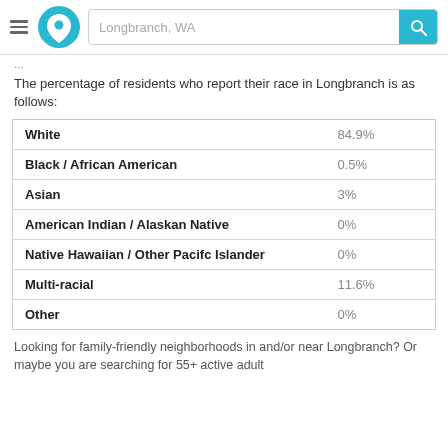Longbranch, WA
The percentage of residents who report their race in Longbranch is as follows:
| Race | Percentage |
| --- | --- |
| White | 84.9% |
| Black / African American | 0.5% |
| Asian | 3% |
| American Indian / Alaskan Native | 0% |
| Native Hawaiian / Other Pacifc Islander | 0% |
| Multi-racial | 11.6% |
| Other | 0% |
Looking for family-friendly neighborhoods in and/or near Longbranch? Or maybe you are searching for 55+ active adult